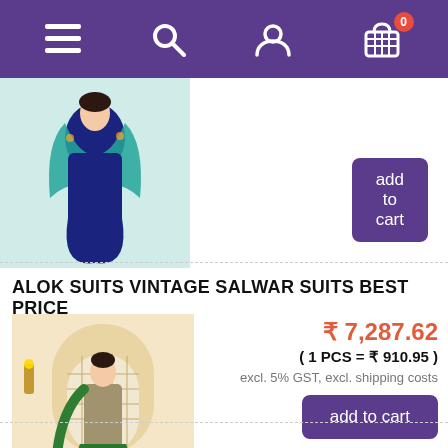Navigation header with hamburger menu, search, user, and cart (0 items) icons
[Figure (photo): Woman wearing navy blue and teal salwar suit with dupatta]
add to cart
ALOK SUITS VINTAGE SALWAR SUITS BEST PRICE
[Figure (photo): Woman wearing olive green and dark green embroidered salwar suit standing in front of a decorative arch]
₹ 7,287.62
( 1 PCS = ₹ 910.95 )
excl. 5% GST, excl. shipping costs
add to cart